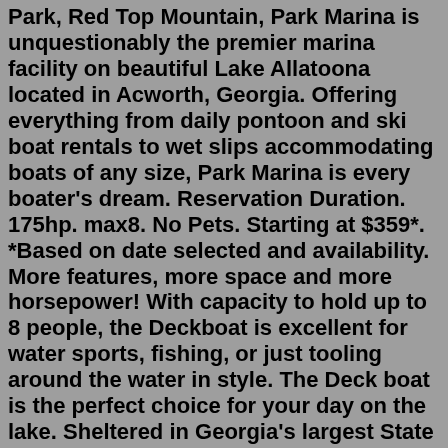Park, Red Top Mountain, Park Marina is unquestionably the premier marina facility on beautiful Lake Allatoona located in Acworth, Georgia. Offering everything from daily pontoon and ski boat rentals to wet slips accommodating boats of any size, Park Marina is every boater's dream. Reservation Duration. 175hp. max8. No Pets. Starting at $359*. *Based on date selected and availability. More features, more space and more horsepower! With capacity to hold up to 8 people, the Deckboat is excellent for water sports, fishing, or just tooling around the water in style. The Deck boat is the perfect choice for your day on the lake. Sheltered in Georgia's largest State Park, Red Top Mountain, Park Marina is unquestionably the premier marina facility on beautiful Lake Allatoona located in Acworth, Georgia. Offering everything from daily pontoon and ski boat rentals to wet slips accommodating boats of any size, Park Marina is every boater's dream. Rent the best Lake Allatoona party boat rentals of 2022 Trip Date. Search